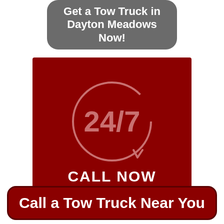Get a Tow Truck in Dayton Meadows Now!
[Figure (infographic): Dark red square with a circular 24/7 refresh icon in pink/light red, and 'CALL NOW' text at the bottom in bold white]
Call a Tow Truck Near You